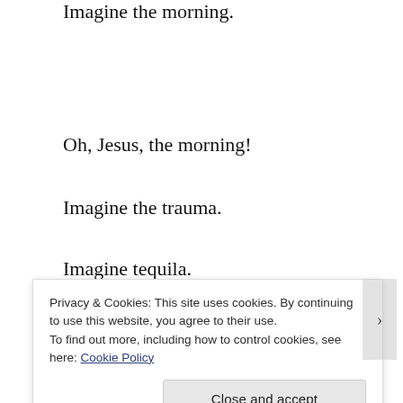Imagine the morning.
Oh, Jesus, the morning!
Imagine the trauma.
Imagine tequila.
SHARE THIS:
Privacy & Cookies: This site uses cookies. By continuing to use this website, you agree to their use.
To find out more, including how to control cookies, see here: Cookie Policy
Close and accept